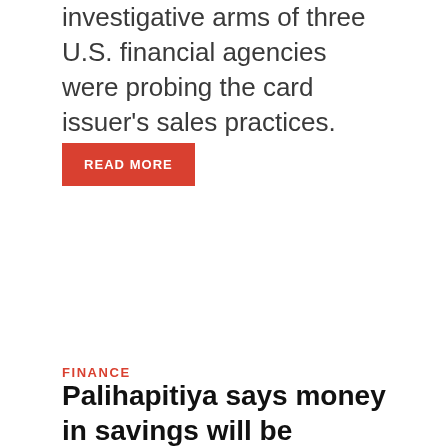investigative arms of three U.S. financial agencies were probing the card issuer's sales practices. Shares …
READ MORE
FINANCE
Palihapitiya says money in savings will be